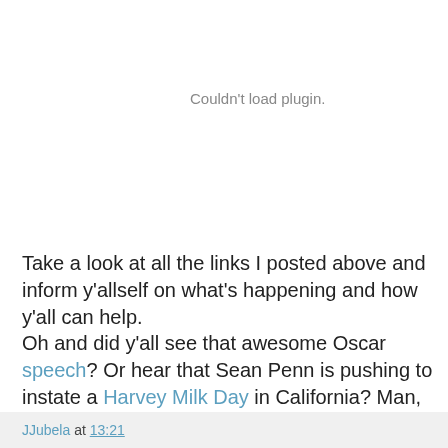Couldn't load plugin.
Take a look at all the links I posted above and inform y'allself on what's happening and how y'all can help.
Oh and did y'all see that awesome Oscar speech? Or hear that Sean Penn is pushing to instate a Harvey Milk Day in California? Man, if it weren't for midterms I would totally be out there too fighting the good fight. I'm totally oppressed by school! Thank god for grassroots sticking it to the man.
paz y amor
JJubela at 13:21